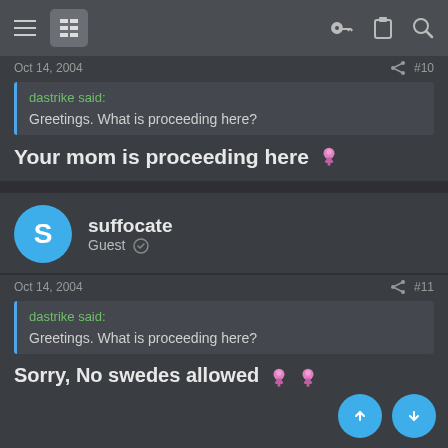Navigation bar with menu, grid icon, key icon, clipboard icon, search icon
Oct 14, 2004   #10
dastrike said:
Greetings. What is proceeding here?
Your mom is proceeding here 🎈
suffocate
Guest
Oct 14, 2004   #11
dastrike said:
Greetings. What is proceeding here?
Sorry, No swedes allowed 🎈🎈